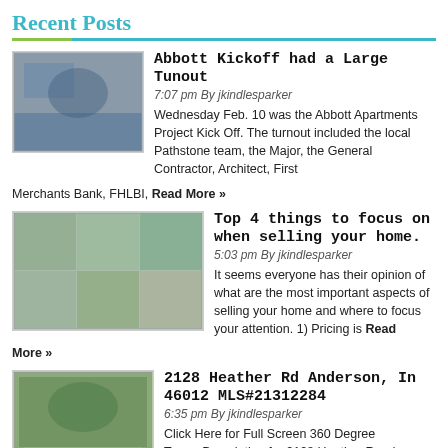Recent Posts
Abbott Kickoff had a Large Tunout
7:07 pm By jkindlesparker
Wednesday Feb. 10 was the Abbott Apartments Project Kick Off. The turnout included the local Pathstone team, the Major, the General Contractor, Architect, First Merchants Bank, FHLBI, Read More »
Top 4 things to focus on when selling your home.
5:03 pm By jkindlesparker
It seems everyone has their opinion of what are the most important aspects of selling your home and where to focus your attention. 1) Pricing is Read More »
2128 Heather Rd Anderson, In 46012 MLS#21312284
6:35 pm By jkindlesparker
Click Here for Full Screen 360 Degree Tour    Description for 2128 Heather Road Anderson, IN 46012 Perfectly Maintained 3 bedroom 2 bath with large, Read More »